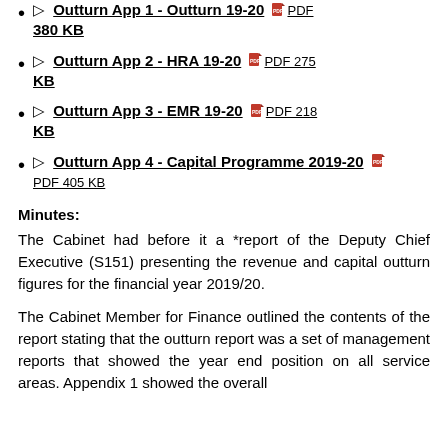Outturn App 2 - HRA 19-20  PDF 275 KB
Outturn App 3 - EMR 19-20  PDF 218 KB
Outturn App 4 - Capital Programme 2019-20  PDF 405 KB
Minutes:
The Cabinet had before it a *report of the Deputy Chief Executive (S151) presenting the revenue and capital outturn figures for the financial year 2019/20.
The Cabinet Member for Finance outlined the contents of the report stating that the outturn report was a set of management reports that showed the year end position on all service areas. Appendix 1 showed the overall